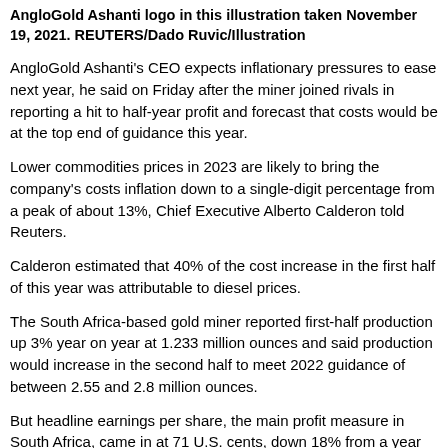AngloGold Ashanti logo in this illustration taken November 19, 2021. REUTERS/Dado Ruvic/Illustration
AngloGold Ashanti's CEO expects inflationary pressures to ease next year, he said on Friday after the miner joined rivals in reporting a hit to half-year profit and forecast that costs would be at the top end of guidance this year.
Lower commodities prices in 2023 are likely to bring the company's costs inflation down to a single-digit percentage from a peak of about 13%, Chief Executive Alberto Calderon told Reuters.
Calderon estimated that 40% of the cost increase in the first half of this year was attributable to diesel prices.
The South Africa-based gold miner reported first-half production up 3% year on year at 1.233 million ounces and said production would increase in the second half to meet 2022 guidance of between 2.55 and 2.8 million ounces.
But headline earnings per share, the main profit measure in South Africa, came in at 71 U.S. cents, down 18% from a year earlier. Total cash costs were up 6% at $1,068 an ounce as inflation accelerated,